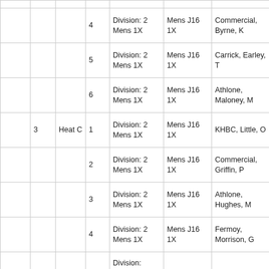|  |  |  |  | Division | Event | Club/Athlete |
| --- | --- | --- | --- | --- | --- | --- |
|  |  |  | 4 | Division: 2 Mens 1X | Mens J16 1X | Commercial, Byrne, K |
|  |  |  | 5 | Division: 2 Mens 1X | Mens J16 1X | Carrick, Earley, T |
|  |  |  | 6 | Division: 2 Mens 1X | Mens J16 1X | Athlone, Maloney, M |
|  | 3 | Heat C | 1 | Division: 2 Mens 1X | Mens J16 1X | KHBC, Little, O |
|  |  |  | 2 | Division: 2 Mens 1X | Mens J16 1X | Commercial, Griffin, P |
|  |  |  | 3 | Division: 2 Mens 1X | Mens J16 1X | Athlone, Hughes, M |
|  |  |  | 4 | Division: 2 Mens 1X | Mens J16 1X | Fermoy, Morrison, G |
|  |  |  |  | Division: |  |  |